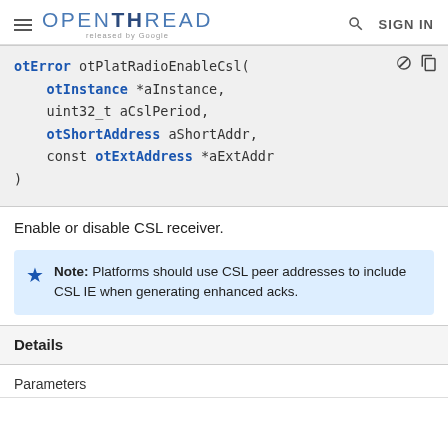OPENTHREAD released by Google — SIGN IN
Enable or disable CSL receiver.
Note: Platforms should use CSL peer addresses to include CSL IE when generating enhanced acks.
Details
Parameters